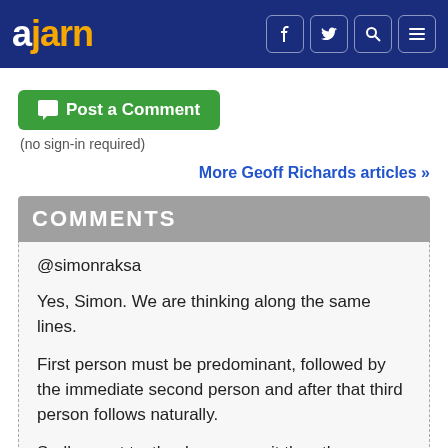ajarn | f | twitter | search | menu
Post a Comment
(no sign-in required)
More Geoff Richards articles >>
COMMENTS
@simonraksa
Yes, Simon. We are thinking along the same lines.
First person must be predominant, followed by the immediate second person and after that third person follows naturally.
Sadly, most textbooks assume it the other way around